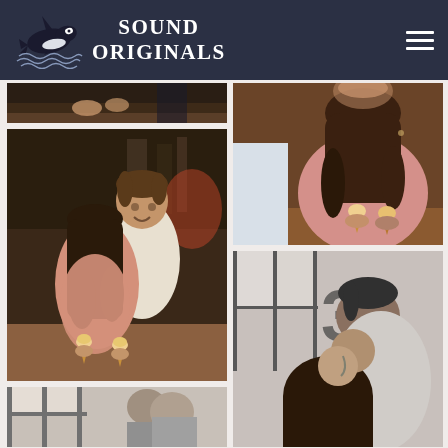SOUND ORIGINALS
[Figure (photo): Photography studio website header with orca/killer whale logo and 'SOUND ORIGINALS' brand name on dark navy background with hamburger menu icon]
[Figure (photo): Partial photo at top left showing a person's hands on a dark surface]
[Figure (photo): Main large photo on left: a smiling man and a woman in a pink blouse facing each other, both holding waffle ice cream cones, in a warm indoor setting]
[Figure (photo): Partial photo at bottom left, black and white, couple near windows]
[Figure (photo): Top right photo: woman in pink blouse with long wavy hair holding waffle cone, smiling, man's arm around her]
[Figure (photo): Bottom right photo: black and white photo of couple kissing or leaning close together near windows]